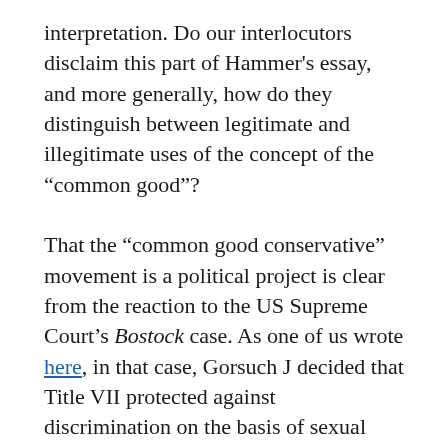interpretation. Do our interlocutors disclaim this part of Hammer's essay, and more generally, how do they distinguish between legitimate and illegitimate uses of the concept of the “common good”?
That the “common good conservative” movement is a political project is clear from the reaction to the US Supreme Court’s Bostock case. As one of us wrote here, in that case, Gorsuch J decided that Title VII protected against discrimination on the basis of sexual orientation and gender identity, despite their not being expressly listed in the statute, because such discrimination necessarily and logically involves